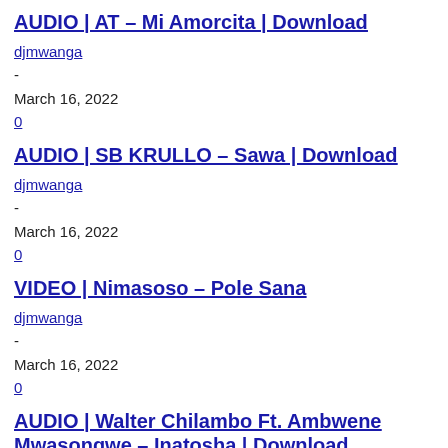AUDIO | AT – Mi Amorcita | Download
djmwanga
-
March 16, 2022
0
AUDIO | SB KRULLO – Sawa | Download
djmwanga
-
March 16, 2022
0
VIDEO | Nimasoso – Pole Sana
djmwanga
-
March 16, 2022
0
AUDIO | Walter Chilambo Ft. Ambwene Mwasongwe – Inatosha | Download